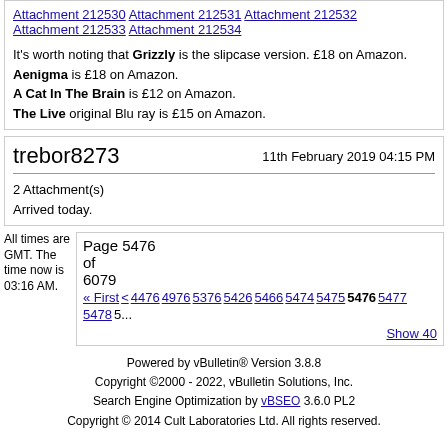Attachment 212530 Attachment 212531 Attachment 212532 Attachment 212533 Attachment 212534
It's worth noting that Grizzly is the slipcase version. £18 on Amazon. Aenigma is £18 on Amazon. A Cat In The Brain is £12 on Amazon. The Live original Blu ray is £15 on Amazon.
trebor8273 — 11th February 2019 04:15 PM
2 Attachment(s)
Arrived today.
All times are GMT. The time now is 03:16 AM.
Page 5476 of 6079 — « First < 4476 4976 5376 5426 5466 5474 5475 5476 5477 5478 5…
Show 40
Powered by vBulletin® Version 3.8.8
Copyright ©2000 - 2022, vBulletin Solutions, Inc.
Search Engine Optimization by vBSEO 3.6.0 PL2
Copyright © 2014 Cult Laboratories Ltd. All rights reserved.